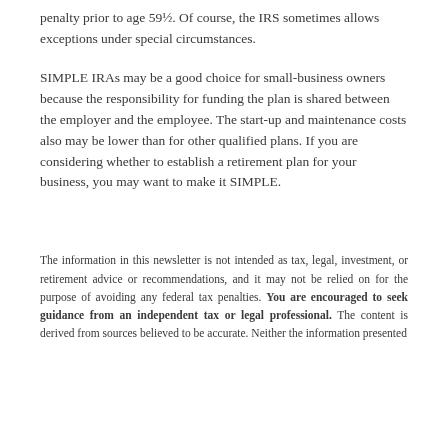penalty prior to age 59½. Of course, the IRS sometimes allows exceptions under special circumstances.
SIMPLE IRAs may be a good choice for small-business owners because the responsibility for funding the plan is shared between the employer and the employee. The start-up and maintenance costs also may be lower than for other qualified plans. If you are considering whether to establish a retirement plan for your business, you may want to make it SIMPLE.
The information in this newsletter is not intended as tax, legal, investment, or retirement advice or recommendations, and it may not be relied on for the purpose of avoiding any federal tax penalties. You are encouraged to seek guidance from an independent tax or legal professional. The content is derived from sources believed to be accurate. Neither the information presented